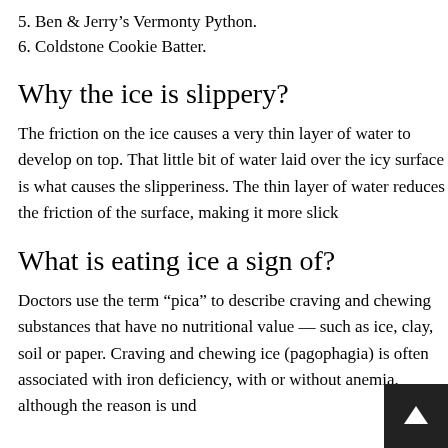5. Ben & Jerry's Vermonty Python.
6. Coldstone Cookie Batter.
Why the ice is slippery?
The friction on the ice causes a very thin layer of water to develop on top. That little bit of water laid over the icy surface is what causes the slipperiness. The thin layer of water reduces the friction of the surface, making it more slick
What is eating ice a sign of?
Doctors use the term “pica” to describe craving and chewing substances that have no nutritional value — such as ice, clay, soil or paper. Craving and chewing ice (pagophagia) is often associated with iron deficiency, with or without anemia, although the reason is und